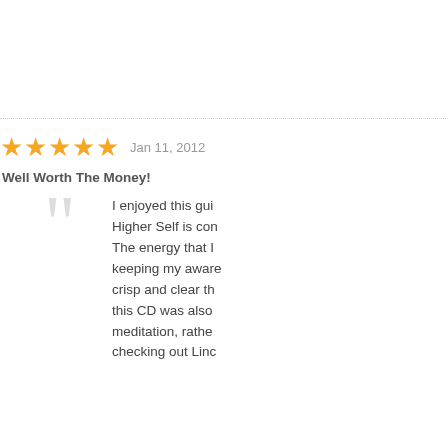like the bliss of m...
Jan 11, 2012
Well Worth The Money!
I enjoyed this gui... Higher Self is con... The energy that I keeping my aware... crisp and clear th... this CD was also meditation, rathe... checking out Linc...
Jan 8, 2012 by
2012 Awakening
The information c... something new a...